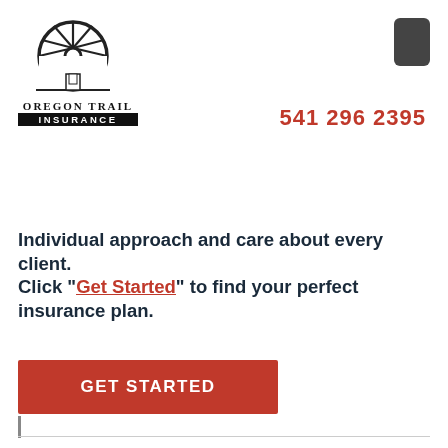[Figure (logo): Oregon Trail Insurance logo with wagon wheel graphic above text 'OREGON TRAIL INSURANCE']
541 296 2395
Individual approach and care about every client.
Click "Get Started" to find your perfect insurance plan.
GET STARTED